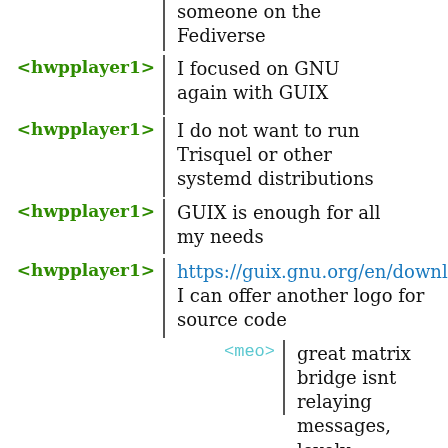someone on the Fediverse
<hwpplayer1> I focused on GNU again with GUIX
<hwpplayer1> I do not want to run Trisquel or other systemd distributions
<hwpplayer1> GUIX is enough for all my needs
<hwpplayer1> https://guix.gnu.org/en/download/ I can offer another logo for source code
<meo> great matrix bridge isnt relaying messages, lovely
<hwpplayer1> https://openclipart.org/detail/37171/rubiks-